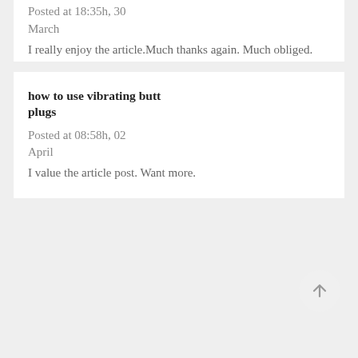Posted at 18:35h, 30 March
I really enjoy the article.Much thanks again. Much obliged.
how to use vibrating butt plugs
Posted at 08:58h, 02 April
I value the article post. Want more.